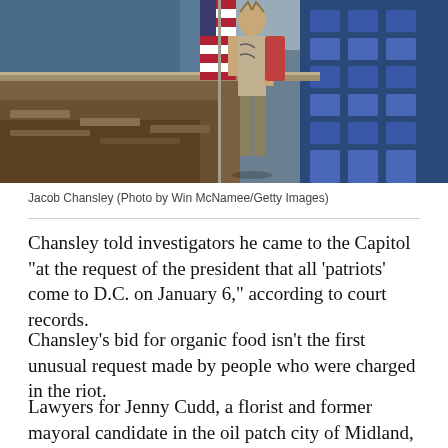[Figure (photo): Jacob Chansley standing inside the U.S. Senate chamber holding an American flag, with blue seats and wooden desks visible in the background during the January 6 Capitol riot.]
Jacob Chansley (Photo by Win McNamee/Getty Images)
Chansley told investigators he came to the Capitol "at the request of the president that all ‘patriots’ come to D.C. on January 6," according to court records.
Chansley’s bid for organic food isn’t the first unusual request made by people who were charged in the riot.
Lawyers for Jenny Cudd, a florist and former mayoral candidate in the oil patch city of Midland, Texas, asked a judge for permission to take a four-day trip to